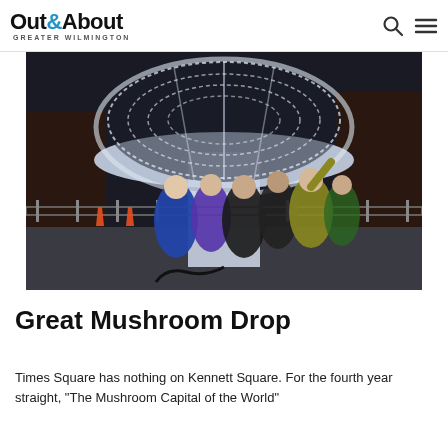Out&About GREATER WILMINGTON
[Figure (photo): Group of people posing in front of a large illuminated mushroom sculpture at night, with metal barriers and orange traffic cones visible in the background. The mushroom is made of white LED lights.]
Great Mushroom Drop
Times Square has nothing on Kennett Square. For the fourth year straight, "The Mushroom Capital of the World"